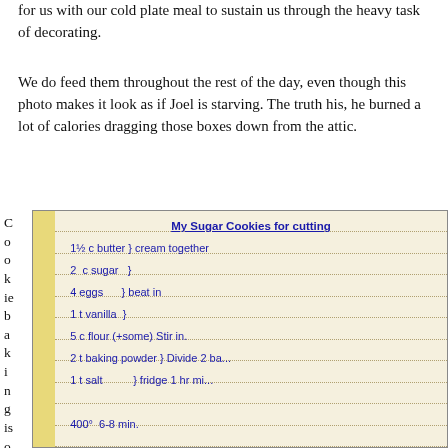for us with our cold plate meal to sustain us through the heavy task of decorating.
We do feed them throughout the rest of the day, even though this photo makes it look as if Joel is starving. The truth his, he burned a lot of calories dragging those boxes down from the attic.
[Figure (photo): A handwritten recipe on notebook paper for Sugar Cookies for cutting and Frosting, with a yellow margin on the left. The recipe includes ingredients and instructions in blue pen handwriting. The page is partially obscured by the side label text 'Cookie baking is one'.]
C
o
o
k
ie
b
a
k
i
n
g
is
o
n
e